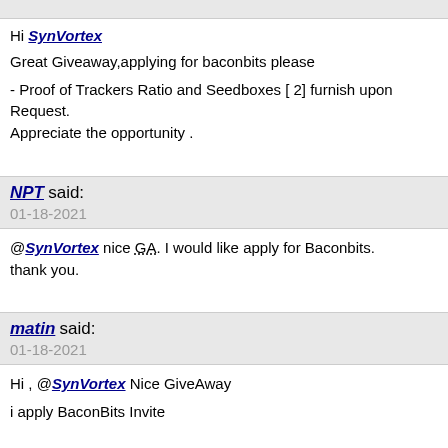Hi @SynVortex
Great Giveaway,applying for baconbits please

- Proof of Trackers Ratio and Seedboxes [ 2] furnish upon Request.
Appreciate the opportunity .
NPT said:
01-18-2021
@SynVortex nice GA. I would like apply for Baconbits.
thank you.
matin said:
01-18-2021
Hi , @SynVortex Nice GiveAway

i apply BaconBits Invite